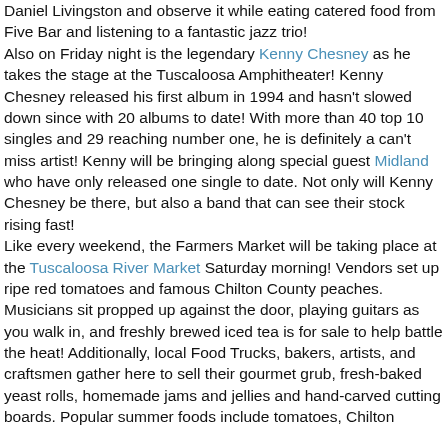Daniel Livingston and observe it while eating catered food from Five Bar and listening to a fantastic jazz trio! Also on Friday night is the legendary Kenny Chesney as he takes the stage at the Tuscaloosa Amphitheater! Kenny Chesney released his first album in 1994 and hasn't slowed down since with 20 albums to date! With more than 40 top 10 singles and 29 reaching number one, he is definitely a can't miss artist! Kenny will be bringing along special guest Midland who have only released one single to date. Not only will Kenny Chesney be there, but also a band that can see their stock rising fast! Like every weekend, the Farmers Market will be taking place at the Tuscaloosa River Market Saturday morning! Vendors set up ripe red tomatoes and famous Chilton County peaches. Musicians sit propped up against the door, playing guitars as you walk in, and freshly brewed iced tea is for sale to help battle the heat! Additionally, local Food Trucks, bakers, artists, and craftsmen gather here to sell their gourmet grub, fresh-baked yeast rolls, homemade jams and jellies and hand-carved cutting boards. Popular summer foods include tomatoes, Chilton